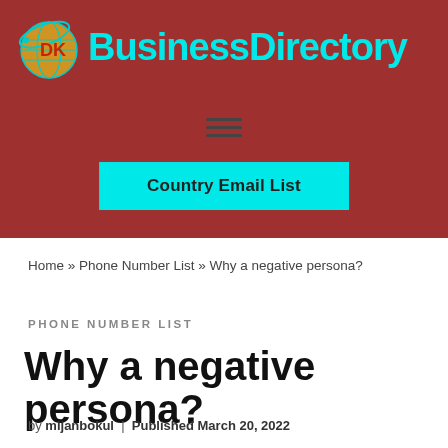[Figure (logo): DK BusinessDirectory logo with cyan text and globe icon on dark red background]
Country Email List
Home » Phone Number List » Why a negative persona?
PHONE NUMBER LIST
Why a negative persona?
by mijanbokul | Published March 20, 2022